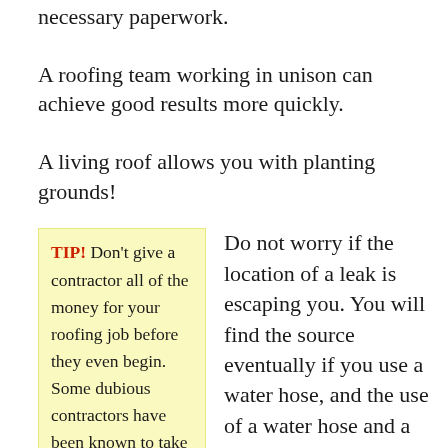necessary paperwork.
A roofing team working in unison can achieve good results more quickly.
A living roof allows you with planting grounds!
TIP! Don't give a contractor all of the money for your roofing job before they even begin. Some dubious contractors have been known to take the money and run.
Do not worry if the location of a leak is escaping you. You will find the source eventually if you use a water hose, and the use of a water hose and a buddy system can help. If you have a large house, talk to your helper by cell phone when you test various areas to avoid excess